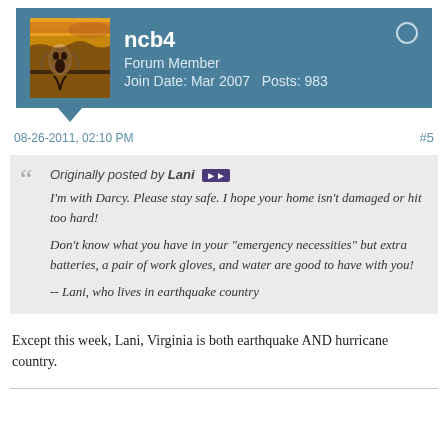[Figure (illustration): Forum user header with avatar image (The Scream painting), username ncb4, Forum Member, Join Date Mar 2007, Posts 983, with teal background and online indicator circle]
08-26-2011, 02:10 PM   #5
Originally posted by Lani
I'm with Darcy. Please stay safe. I hope your home isn't damaged or hit too hard!

Don't know what you have in your "emergency necessities" but extra batteries, a pair of work gloves, and water are good to have with you!

-- Lani, who lives in earthquake country
Except this week, Lani, Virginia is both earthquake AND hurricane country.